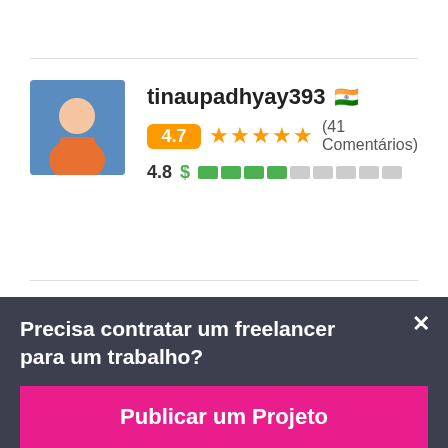[Figure (screenshot): Freelancer profile listing page showing two user profiles with ratings]
tinaupadhyay393 🇮🇳
4.7 ★★★★★ (41 Comentários)
4.8 $ ████░░░░░
sumayyam1 🇺🇸
Precisa contratar um freelancer para um trabalho?
Publicar um Projeto